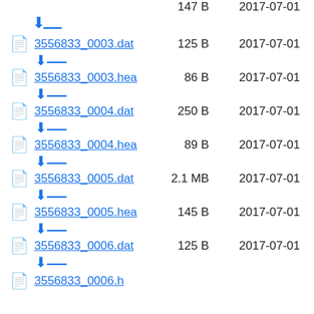147 B  2017-07-01 (download icon - top)
3556833_0003.dat  125 B  2017-07-01
3556833_0003.hea  86 B  2017-07-01
3556833_0004.dat  250 B  2017-07-01
3556833_0004.hea  89 B  2017-07-01
3556833_0005.dat  2.1 MB  2017-07-01
3556833_0005.hea  145 B  2017-07-01
3556833_0006.dat  125 B  2017-07-01
3556833_0006.hea (partial)